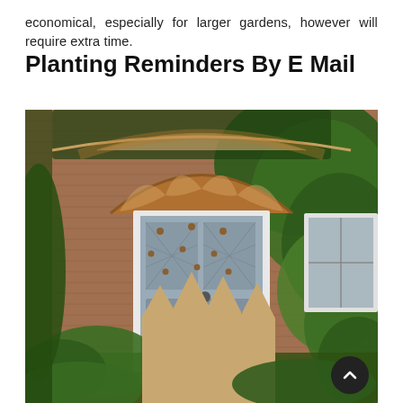economical, especially for larger gardens, however will require extra time.
Planting Reminders By E Mail
[Figure (photo): Photograph of a brick cottage house front with an arched doorway covered in climbing ivy/plants, a grey front door with diamond-pane glass, a wooden picket fence in the foreground, and lush green climbing plants covering the facade. A scroll-to-top button appears in the bottom-right corner.]